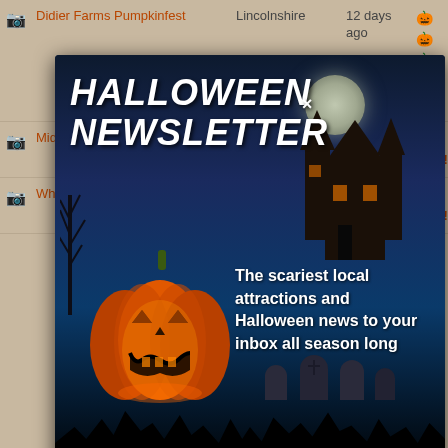Didier Farms Pumpkinfest | Lincolnshire | 12 days ago | 🎃🎃🎃🎃🎃
Midwest Light Show | ELK GROVE VILLAGE | 2126 days ago | Rate Now!
Wheaton Nurseries and | Wheaton | 10 days | Rate Now!
[Figure (screenshot): Halloween Newsletter popup modal with haunted house background, glowing jack-o-lantern, moon, gravestones, and trees. Contains title 'HALLOWEEN NEWSLETTER' with a close X button, description text 'The scariest local attractions and Halloween news to your inbox all season long', subtitle '• Illinois Edition •', email input field with placeholder '[your email]', and orange 'Join' button.]
Keller's Farmstand | Oswego | 10 days ago | Rate Now!
Halloween Scare Walk | Wood Dale | 10 days ago | 🎃🎃🎃🎃
D.O.A. Room Escape | Villa Park | 1812 days | Rate Now!